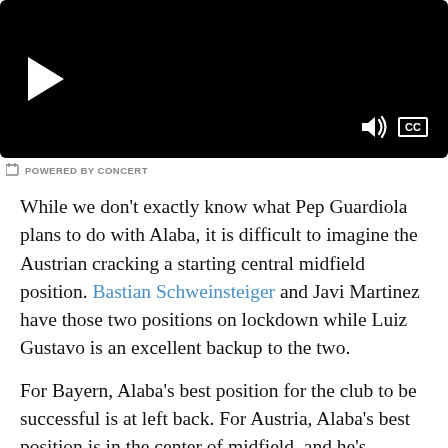[Figure (screenshot): Video player with black background, white play button on left, volume and CC icons on bottom right]
POWERED BY CONCERT
While we don't exactly know what Pep Guardiola plans to do with Alaba, it is difficult to imagine the Austrian cracking a starting central midfield position. Bastian Schweinsteiger and Javi Martinez have those two positions on lockdown while Luiz Gustavo is an excellent backup to the two.
For Bayern, Alaba's best position for the club to be successful is at left back. For Austria, Alaba's best position is in the center of midfield, and he's recently said that he would prefer to play in the midfield. What does this all mean? Nothing really. It would absolutely